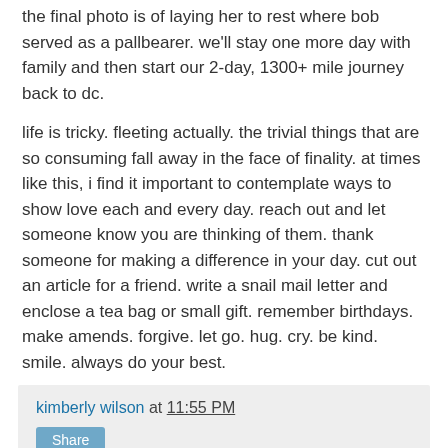the final photo is of laying her to rest where bob served as a pallbearer. we'll stay one more day with family and then start our 2-day, 1300+ mile journey back to dc.
life is tricky. fleeting actually. the trivial things that are so consuming fall away in the face of finality. at times like this, i find it important to contemplate ways to show love each and every day. reach out and let someone know you are thinking of them. thank someone for making a difference in your day. cut out an article for a friend. write a snail mail letter and enclose a tea bag or small gift. remember birthdays. make amends. forgive. let go. hug. cry. be kind. smile. always do your best.
kimberly wilson at 11:55 PM
Share
6 comments:
Susan 6/25/2009 7:49 AM